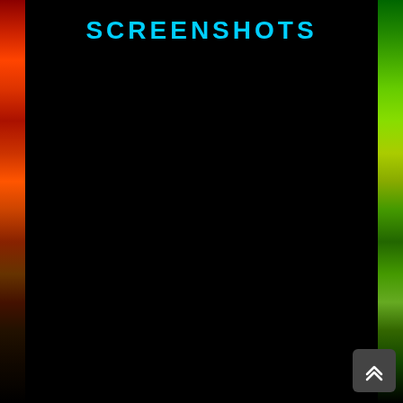SCREENSHOTS
[Figure (screenshot): App store or game store screenshots page showing 'SCREENSHOTS' heading in cyan/blue text on a dark background, with colorful game art visible on the left and right edges. A dark gray scroll-to-top button with double chevron arrow is visible in the bottom right corner.]